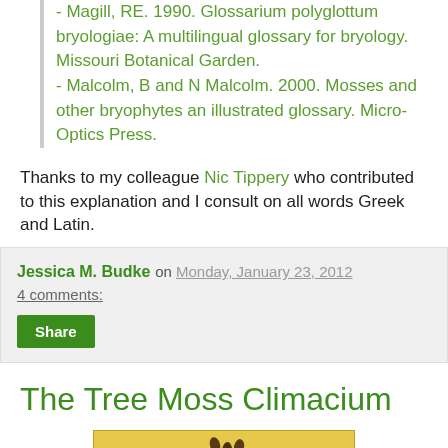- Magill, RE. 1990. Glossarium polyglottum bryologiae: A multilingual glossary for bryology. Missouri Botanical Garden.
- Malcolm, B and N Malcolm. 2000. Mosses and other bryophytes an illustrated glossary. Micro-Optics Press.
Thanks to my colleague Nic Tippery who contributed to this explanation and I consult on all words Greek and Latin.
Jessica M. Budke   on   Monday, January 23, 2012
4 comments:
[Share]
The Tree Moss Climacium
[Figure (illustration): Illustration of Climacium moss plant with dark brown stems on a yellow/golden background]